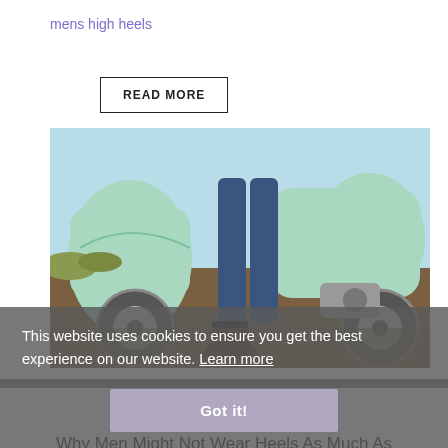mens high heels
READ MORE
[Figure (photo): Person wearing high heel boots standing next to a mint green vintage scooter/moped on a dirt road, photographed from the waist down, showing jeans and black high heel boots.]
This website uses cookies to ensure you get the best experience on our website. Learn more
Got it!
Why Men Might Not Wear Heels As Much As